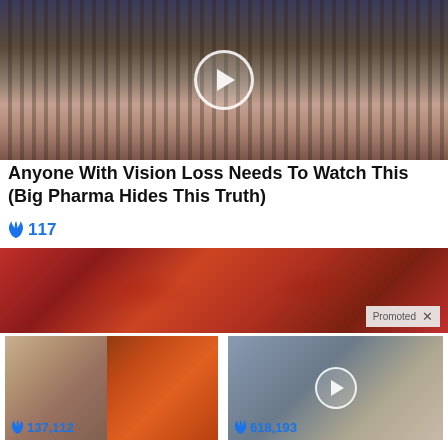[Figure (photo): Close-up of a face with something covering eyes, video play button overlay]
Anyone With Vision Loss Needs To Watch This (Big Pharma Hides This Truth)
🔥 117
[Figure (photo): Close-up of red meat/tuna with a Promoted label]
[Figure (photo): Fitness person and spice on spoon collage]
A Teaspoon On An Empty Stomach Burns Fat Like Crazy!
🔥 137,112
[Figure (photo): Two people at event with video play button overlay]
AOC Wants This Video Destroyed — Watch Now Before It's Banned
🔥 618,193